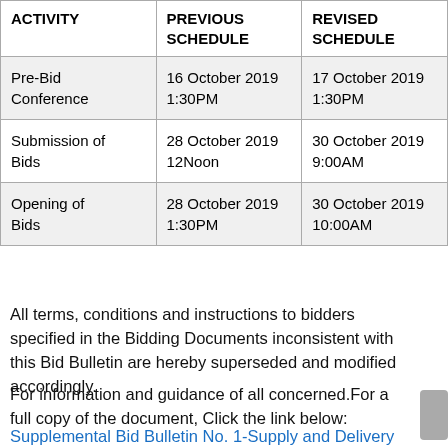| ACTIVITY | PREVIOUS SCHEDULE | REVISED SCHEDULE |
| --- | --- | --- |
| Pre-Bid Conference | 16 October 2019
1:30PM | 17 October 2019
1:30PM |
| Submission of Bids | 28 October 2019
12Noon | 30 October 2019
9:00AM |
| Opening of Bids | 28 October 2019
1:30PM | 30 October 2019
10:00AM |
All terms, conditions and instructions to bidders specified in the Bidding Documents inconsistent with this Bid Bulletin are hereby superseded and modified accordingly.
For information and guidance of all concerned.For a full copy of the document, Click the link below:
Supplemental Bid Bulletin No. 1-Supply and Delivery of